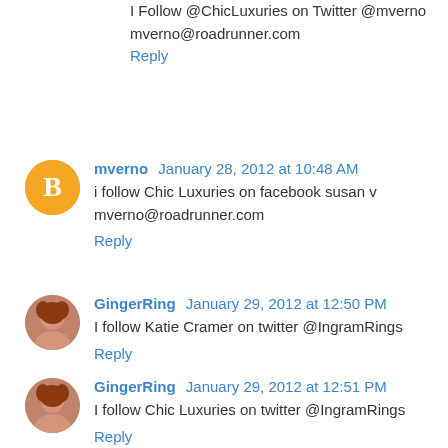I Follow @ChicLuxuries on Twitter @mverno mverno@roadrunner.com
Reply
mverno  January 28, 2012 at 10:48 AM
i follow Chic Luxuries on facebook susan v mverno@roadrunner.com
Reply
GingerRing  January 29, 2012 at 12:50 PM
I follow Katie Cramer on twitter @IngramRings
Reply
GingerRing  January 29, 2012 at 12:51 PM
I follow Chic Luxuries on twitter @IngramRings
Reply